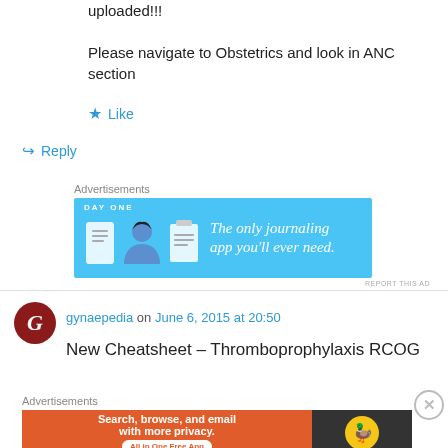uploaded!!!
Please navigate to Obstetrics and look in ANC section
★ Like
↪ Reply
[Figure (screenshot): Day One journaling app advertisement banner: blue background with app icons and text 'The only journaling app you'll ever need.']
gynaepedia on June 6, 2015 at 20:50
New Cheatsheet – Thromboprophylaxis RCOG
[Figure (screenshot): DuckDuckGo advertisement banner: orange background with text 'Search, browse, and email with more privacy. All in One Free App' and DuckDuckGo logo on dark right panel.]